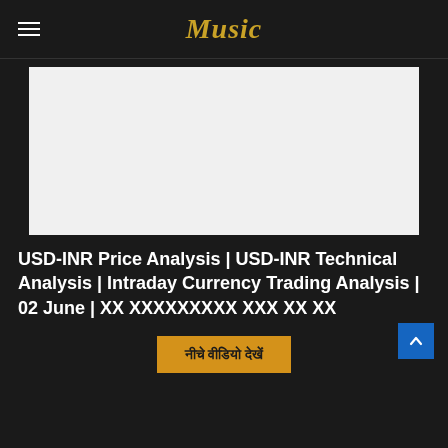Music
[Figure (other): White/light gray rectangular image placeholder area]
USD-INR Price Analysis | USD-INR Technical Analysis | Intraday Currency Trading Analysis | 02 June | ×× ××××××××× ××× ×× ××
नीचे वीडियो देखें